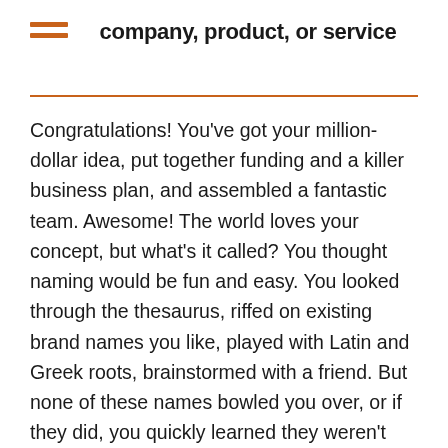company, product, or service
Congratulations! You've got your million-dollar idea, put together funding and a killer business plan, and assembled a fantastic team. Awesome! The world loves your concept, but what's it called? You thought naming would be fun and easy. You looked through the thesaurus, riffed on existing brand names you like, played with Latin and Greek roots, brainstormed with a friend. But none of these names bowled you over, or if they did, you quickly learned they weren't